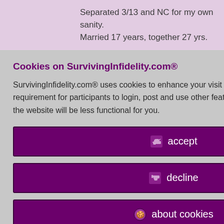Separated 3/13 and NC for my own sanity.
Married 17 years, together 27 yrs.
id 6932996
er 5th, 2014
Cookies on SurvivingInfidelity.com®
SurvivingInfidelity.com® uses cookies to enhance your visit to our website. This is a requirement for participants to login, post and use other features. Visitors may opt out, but the website will be less functional for you.
accept
decline
about cookies
." (and I prefer to
r eyes closed."
Policy